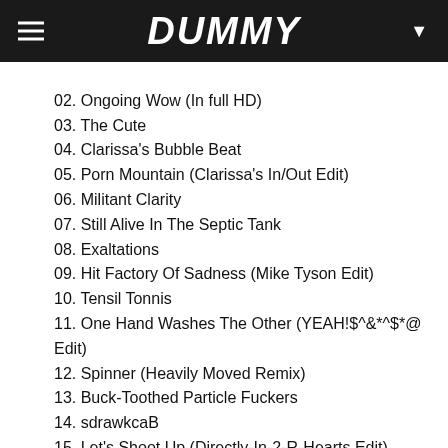DUMMY
02. Ongoing Wow (In full HD)
03. The Cute
04. Clarissa's Bubble Beat
05. Porn Mountain (Clarissa's In/Out Edit)
06. Militant Clarity
07. Still Alive In The Septic Tank
08. Exaltations
09. Hit Factory Of Sadness (Mike Tyson Edit)
10. Tensil Tonnis
11. One Hand Washes The Other (YEAH!$^&*^$*@ Edit)
12. Spinner (Heavily Moved Remix)
13. Buck-Toothed Particle Fuckers
14. sdrawkcaB
15. Let's Shoot Up (Directly-In-2-R-Hearts Edit)
16. Phases/hasesP/asesPh/sesPha/esPhas/sPhase/Phase
17. Temporary Appearance, Ultimate Success
18. Life-Size, Christ-Like, Cut-Out
19. If Living This Without You Is No Good (Part 1)
20. Those Who Can, Preach!
21. WHET
22. Unspoken Cacophony Pony